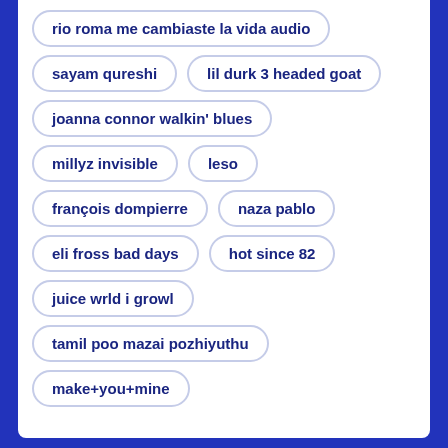rio roma me cambiaste la vida audio
sayam qureshi
lil durk 3 headed goat
joanna connor walkin' blues
millyz invisible
leso
françois dompierre
naza pablo
eli fross bad days
hot since 82
juice wrld i growl
tamil poo mazai pozhiyuthu
make+you+mine